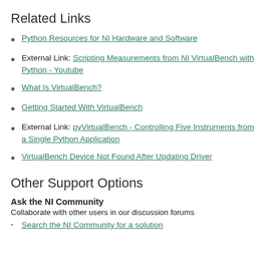Related Links
Python Resources for NI Hardware and Software
External Link: Scripting Measurements from NI VirtualBench with Python - Youtube
What Is VirtualBench?
Getting Started With VirtualBench
External Link: pyVirtualBench - Controlling Five Instruments from a Single Python Application
VirtualBench Device Not Found After Updating Driver
Other Support Options
Ask the NI Community
Collaborate with other users in our discussion forums
Search the NI Community for a solution